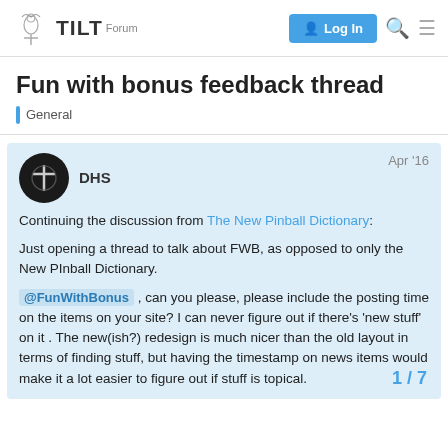TILT Forum — Log In
Fun with bonus feedback thread
General
DHS  Apr '16
Continuing the discussion from The New Pinball Dictionary:

Just opening a thread to talk about FWB, as opposed to only the New PInball Dictionary.

@FunWithBonus , can you please, please include the posting time on the items on your site? I can never figure out if there's 'new stuff' on it . The new(ish?) redesign is much nicer than the old layout in terms of finding stuff, but having the timestamp on news items would make it a lot easier to figure out if stuff is topical.
1 / 7